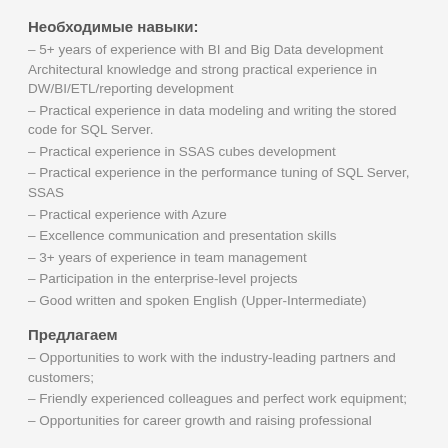Необходимые навыки:
– 5+ years of experience with BI and Big Data development Architectural knowledge and strong practical experience in DW/BI/ETL/reporting development
– Practical experience in data modeling and writing the stored code for SQL Server.
– Practical experience in SSAS cubes development
– Practical experience in the performance tuning of SQL Server, SSAS
– Practical experience with Azure
– Excellence communication and presentation skills
– 3+ years of experience in team management
– Participation in the enterprise-level projects
– Good written and spoken English (Upper-Intermediate)
Предлагаем
– Opportunities to work with the industry-leading partners and customers;
– Friendly experienced colleagues and perfect work equipment;
– Opportunities for career growth and raising professional